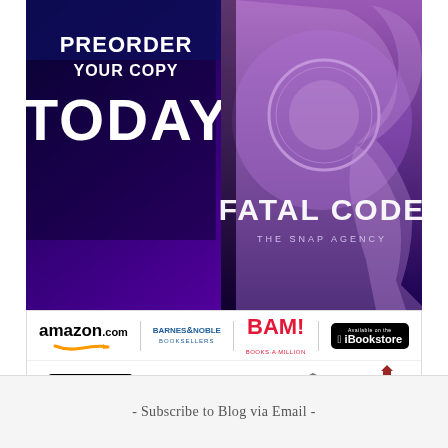[Figure (illustration): Book advertisement banner with dark purple/navy background. Left side shows white bold text 'PREORDER YOUR COPY TODAY'. Right side shows 3D book cover for 'FATAL CODE - THE SNAP AGENCY' with a woman's profile and metallic circular emblem.]
[Figure (illustration): Retailer logos strip with two rows: Row 1: amazon.com, Barnes & Noble Booksellers, BAM! Books-A-Million, iBookstore. Row 2: Google Play, Christianbook.com 1-800-CHRISTIAN, Baker Book House, Indie Bound.]
- Subscribe to Blog via Email -